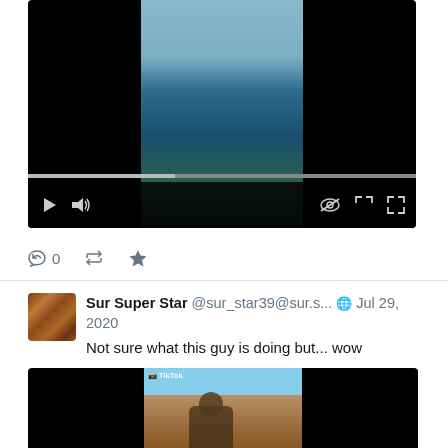[Figure (screenshot): Embedded video player showing ocean/whale footage with black letterbox areas on left and right, video controls bar at bottom with play button, volume icon, progress bar, and fullscreen icons]
0
[Figure (screenshot): Profile avatar of Sur Super Star showing a brown/orange textured image]
Sur Super Star @sur_star39@sur.s... 🌐 Jul 29, 2020
Not sure what this guy is doing but... wow
[Figure (screenshot): Embedded TikTok video showing a person on rocky cliff terrain, with black letterbox areas on left and right sides]